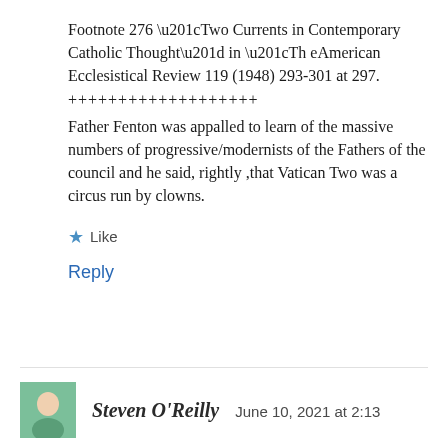Footnote 276 “Two Currents in Contemporary Catholic Thought” in “Th eAmerican Ecclesistical Review 119 (1948) 293-301 at 297.
++++++++++++++++++
Father Fenton was appalled to learn of the massive numbers of progressive/modernists of the Fathers of the council and he said, rightly ,that Vatican Two was a circus run by clowns.
★ Like
Reply
Steven O’Reilly   June 10, 2021 at 2:13